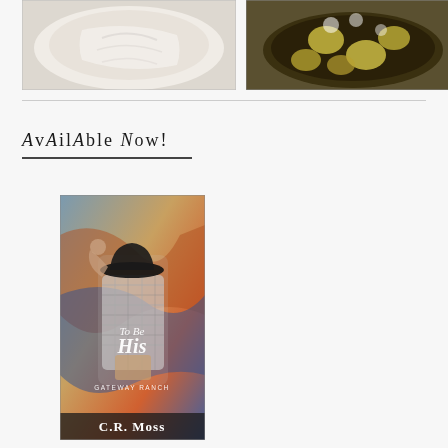[Figure (photo): Close-up photo of white creamy mixture in a bowl]
[Figure (photo): Photo of food cooking in a pot with bubbling liquid, possibly potatoes or dumplings]
AvAilAble Now!
[Figure (photo): Book cover: 'To Be His' by C.R. Moss, Gateway Ranch series, showing a man in a cowboy hat and plaid shirt]